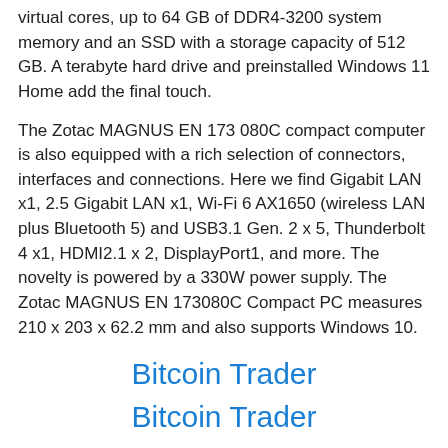virtual cores, up to 64 GB of DDR4-3200 system memory and an SSD with a storage capacity of 512 GB. A terabyte hard drive and preinstalled Windows 11 Home add the final touch.
The Zotac MAGNUS EN 173 080C compact computer is also equipped with a rich selection of connectors, interfaces and connections. Here we find Gigabit LAN x1, 2.5 Gigabit LAN x1, Wi-Fi 6 AX1650 (wireless LAN plus Bluetooth 5) and USB3.1 Gen. 2 x 5, Thunderbolt 4 x1, HDMI2.1 x 2, DisplayPort1, and more. The novelty is powered by a 330W power supply. The Zotac MAGNUS EN 173080C Compact PC measures 210 x 203 x 62.2 mm and also supports Windows 10.
Bitcoin Trader
Bitcoin Trader
Posted in News